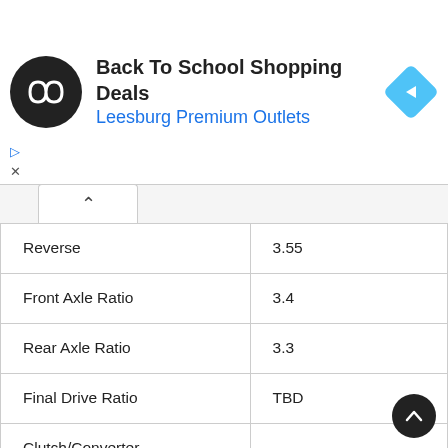[Figure (other): Ad banner: Back To School Shopping Deals – Leesburg Premium Outlets]
| Specification | Value |
| --- | --- |
| Reverse | 3.55 |
| Front Axle Ratio | 3.4 |
| Rear Axle Ratio | 3.3 |
| Final Drive Ratio | TBD |
| Clutch/Converter diameter (inches) | 8.7 / 6.4 inches |
| Dimensions |  |